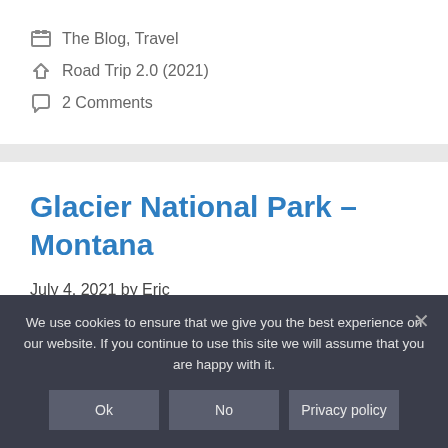The Blog, Travel
Road Trip 2.0 (2021)
2 Comments
Glacier National Park – Montana
July 4, 2021 by Eric
We use cookies to ensure that we give you the best experience on our website. If you continue to use this site we will assume that you are happy with it.